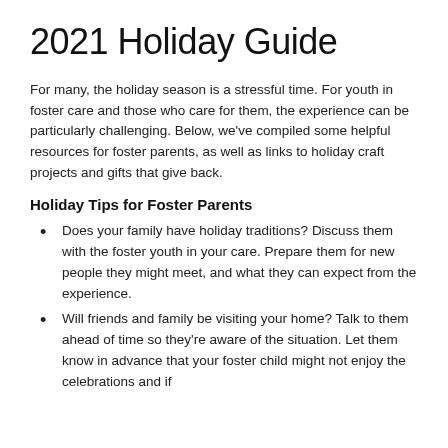2021 Holiday Guide
For many, the holiday season is a stressful time. For youth in foster care and those who care for them, the experience can be particularly challenging. Below, we've compiled some helpful resources for foster parents, as well as links to holiday craft projects and gifts that give back.
Holiday Tips for Foster Parents
Does your family have holiday traditions? Discuss them with the foster youth in your care. Prepare them for new people they might meet, and what they can expect from the experience.
Will friends and family be visiting your home? Talk to them ahead of time so they're aware of the situation. Let them know in advance that your foster child might not enjoy the celebrations and if